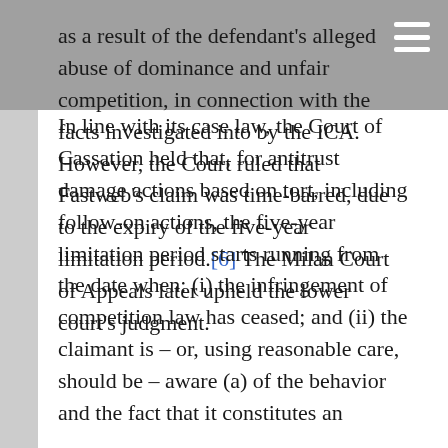as a result of the defendant's alleged abuse of dominance and unfair competition, in connection with the facts investigated into by the ICA. However, the Court ruled that Fastweb's claim was time-barred, due to the expiry of the five-year limitation period.[6] The Milan Court of Appeals later upheld the lower court's judgment.
In line with its case law, the Court of Cassation held that, for antitrust damage actions based on tort, including follow-on actions, the five-year limitation period starts running from the date when: (i) the infringement of competition law has ceased; and (ii) the claimant is – or, using reasonable care, should be – aware (a) of the behavior and the fact that it constitutes an